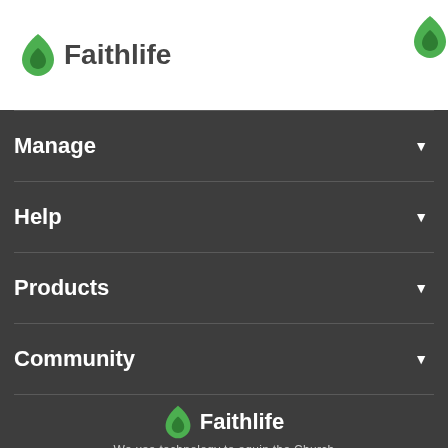[Figure (logo): Faithlife logo with green flame icon and bold gray text]
Manage ▾
Help ▾
Products ▾
Community ▾
[Figure (logo): Faithlife footer logo with green flame icon and white text]
We use technology to equip the Church
[Figure (infographic): Social sharing buttons: left arrow, Facebook, Twitter, Reddit, Pinterest, Email, LinkedIn, right arrow]